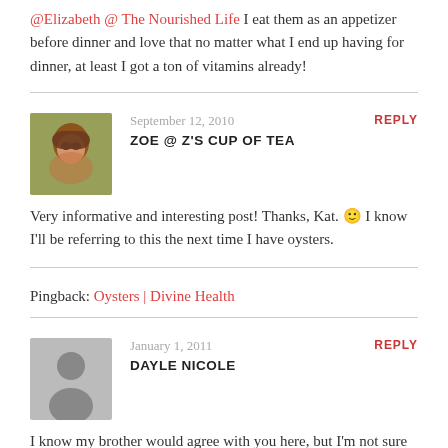@Elizabeth @ The Nourished Life I eat them as an appetizer before dinner and love that no matter what I end up having for dinner, at least I got a ton of vitamins already!
September 12, 2010
ZOE @ Z'S CUP OF TEA
REPLY
Very informative and interesting post! Thanks, Kat. 🙂 I know I'll be referring to this the next time I have oysters.
Pingback: Oysters | Divine Health
January 1, 2011
DAYLE NICOLE
REPLY
I know my brother would agree with you here, but I'm not sure that's accurate in all cases